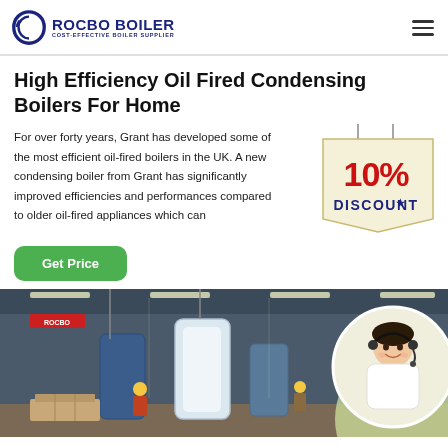ROCBO BOILER — COST-EFFECTIVE BOILER SUPPLIER
High Efficiency Oil Fired Condensing Boilers For Home
For over forty years, Grant has developed some of the most efficient oil-fired boilers in the UK. A new condensing boiler from Grant has significantly improved efficiencies and performances compared to older oil-fired appliances which can
[Figure (infographic): 10% DISCOUNT badge/sticker in red and blue text on cream background with rope/string detail]
[Figure (photo): Green Get Price button (CTA)]
[Figure (photo): Industrial factory/warehouse interior with boilers and workers in hard hats; female customer service representative with headset overlaid on right side]